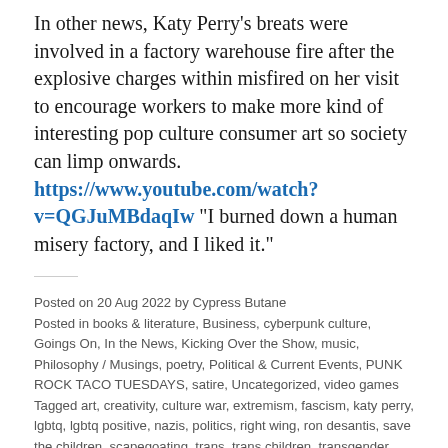In other news, Katy Perry's breats were involved in a factory warehouse fire after the explosive charges within misfired on her visit to encourage workers to make more kind of interesting pop culture consumer art so society can limp onwards. https://www.youtube.com/watch?v=QGJuMBdaqIw "I burned down a human misery factory, and I liked it."
Posted on 20 Aug 2022 by Cypress Butane
Posted in books & literature, Business, cyberpunk culture, Goings On, In the News, Kicking Over the Show, music, Philosophy / Musings, poetry, Political & Current Events, PUNK ROCK TACO TUESDAYS, satire, Uncategorized, video games
Tagged art, creativity, culture war, extremism, fascism, katy perry, lgbtq, lgbtq positive, nazis, politics, right wing, ron desantis, save the children, scapegoating, trans, trans children, transgender positive.
Leave a comment